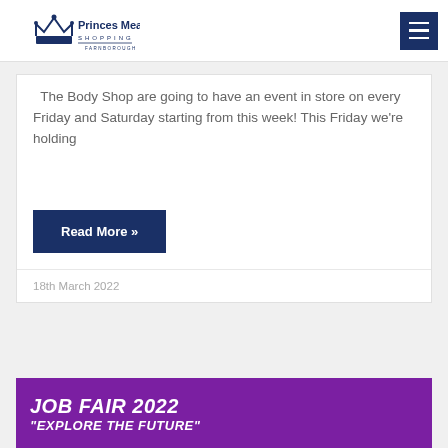Princes Mead Shopping Farnborough
The Body Shop are going to have an event in store on every Friday and Saturday starting from this week! This Friday we're holding
Read More »
18th March 2022
JOB FAIR 2022
"EXPLORE THE FUTURE"